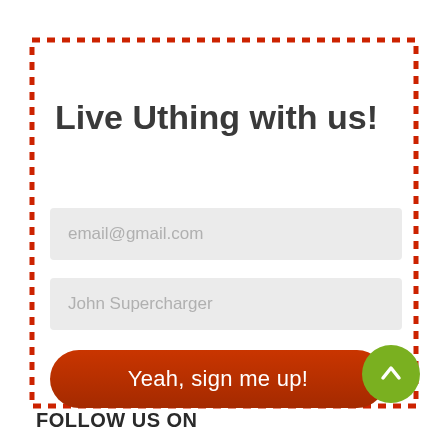[Figure (infographic): Sign-up form widget with red dotted border, title 'Live Uthing with us!', two input fields (email and name), a red rounded button 'Yeah, sign me up!' with a green arrow circle, and a 'FOLLOW US ON' section below.]
Live Uthing with us!
email@gmail.com
John Supercharger
Yeah, sign me up!
FOLLOW US ON